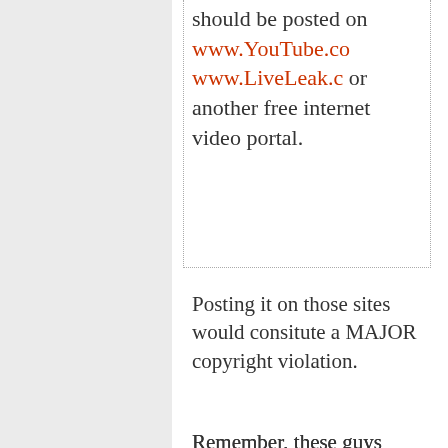should be posted on www.YouTube.com www.LiveLeak.com or another free internet video portal.
Posting it on those sites would consitute a MAJOR copyright violation.
Remember, these guys went all over the world and spent a tone of cash to make the film. You think it got made for free? Geez louise dude, get a clue.